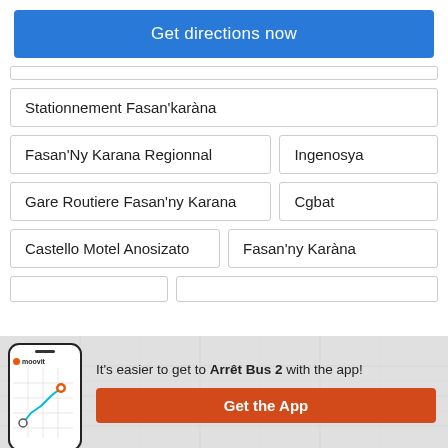Get directions now
Stationnement Fasan'karàna
Fasan'Ny Karana Regionnal
Ingenosya
Gare Routiere Fasan'ny Karana
Cgbat
Castello Motel Anosizato
Fasan'ny Karàna
It's easier to get to Arrêt Bus 2 with the app!
Get the App